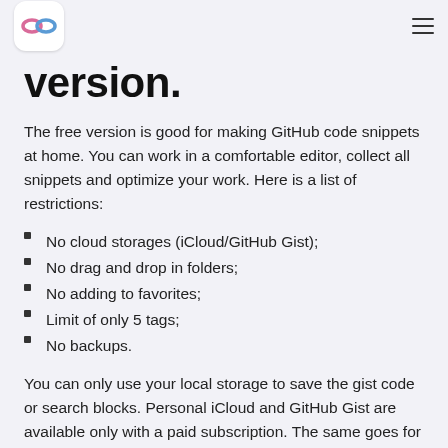[Logo] [hamburger menu]
version.
The free version is good for making GitHub code snippets at home. You can work in a comfortable editor, collect all snippets and optimize your work. Here is a list of restrictions:
No cloud storages (iCloud/GitHub Gist);
No drag and drop in folders;
No adding to favorites;
Limit of only 5 tags;
No backups.
You can only use your local storage to save the gist code or search blocks. Personal iCloud and GitHub Gist are available only with a paid subscription. The same goes for the drag and drop in folders option. You can still